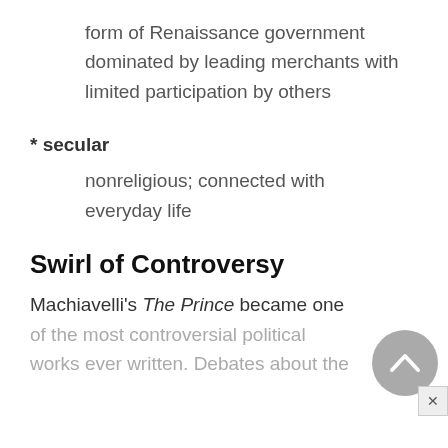form of Renaissance government dominated by leading merchants with limited participation by others
* secular
nonreligious; connected with everyday life
Swirl of Controversy
Machiavelli's The Prince became one of the most controversial political works ever written. Debates about the